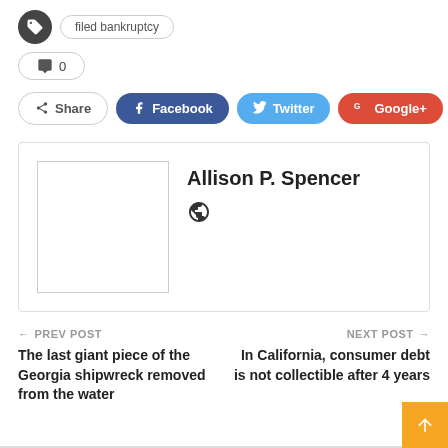filed bankruptcy
💬 0
Share  Facebook  Twitter  Google+  +
Allison P. Spencer
← PREV POST
The last giant piece of the Georgia shipwreck removed from the water
NEXT POST →
In California, consumer debt is not collectible after 4 years